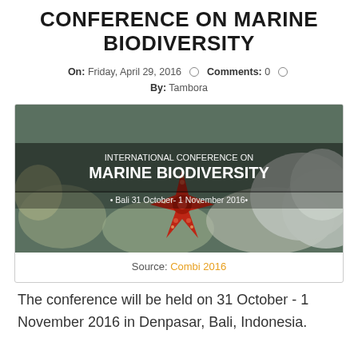CONFERENCE ON MARINE BIODIVERSITY
On: Friday, April 29, 2016  Comments: 0  By: Tambora
[Figure (photo): Banner image for International Conference on Marine Biodiversity, Bali, 31 October - 1 November 2016, showing a red starfish on coral reef underwater]
Source: Combi 2016
The conference will be held on 31 October - 1 November 2016 in Denpasar, Bali, Indonesia.